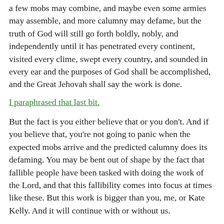a few mobs may combine, and maybe even some armies may assemble, and more calumny may defame, but the truth of God will still go forth boldly, nobly, and independently until it has penetrated every continent, visited every clime, swept every country, and sounded in every ear and the purposes of God shall be accomplished, and the Great Jehovah shall say the work is done.
I paraphrased that last bit.
But the fact is you either believe that or you don't. And if you believe that, you're not going to panic when the expected mobs arrive and the predicted calumny does its defaming. You may be bent out of shape by the fact that fallible people have been tasked with doing the work of the Lord, and that this fallibility comes into focus at times like these. But this work is bigger than you, me, or Kate Kelly. And it will continue with or without us.